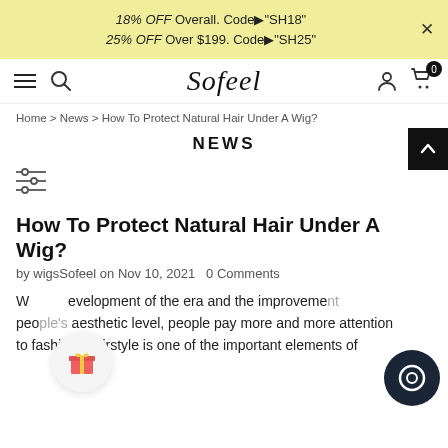18% OFF Overall. Code▶"SH18"
25% OFF Over $199. Code▶"SH25"
[Figure (logo): Sofeel brand logo in cursive script with hamburger menu, search, user, and cart icons]
Home > News > How To Protect Natural Hair Under A Wig?
NEWS
How To Protect Natural Hair Under A Wig?
by wigsSofeel on Nov 10, 2021  0 Comments
W[ith the d]evelopment of the era and the improveme[nt of] peo[ple's] aesthetic level, people pay more and more attention to fashion. Hairstyle is one of the important elements of